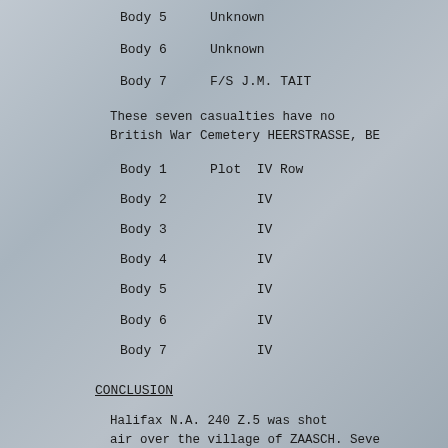Body 5    Unknown
Body 6    Unknown
Body 7    F/S J.M. TAIT
These seven casualties have no British War Cemetery HEERSTRASSE, BE
Body 1    Plot  IV    Row
Body 2          IV
Body 3          IV
Body 4          IV
Body 5          IV
Body 6          IV
Body 7          IV
CONCLUSION
Halifax N.A. 240 Z.5 was shot air over the village of ZAASCH. Seve killed and buried in the village cem
It is suggested that the five the crew members named above be regi